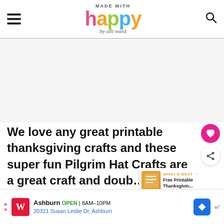Made With Happy by Alli Ward
[Figure (other): Advertisement placeholder area (blank/white space)]
We love any great printable thanksgiving crafts and these super fun Pilgrim Hat Crafts are a great craft and doub… place card.
[Figure (other): What's Next panel: Free Printable Thanksgivin...]
[Figure (other): Bottom advertisement bar: Walgreens - Ashburn OPEN 8AM-10PM, 20321 Susan Leslie Dr, Ashburn]